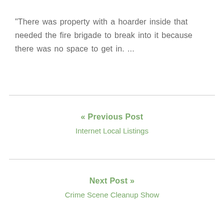"There was property with a hoarder inside that needed the fire brigade to break into it because there was no space to get in. ...
« Previous Post
Internet Local Listings
Next Post »
Crime Scene Cleanup Show